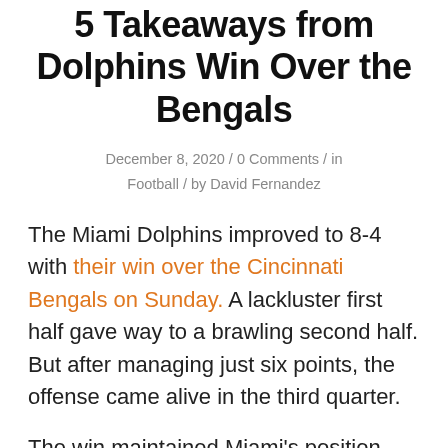5 Takeaways from Dolphins Win Over the Bengals
December 8, 2020 / 0 Comments / in Football / by David Fernandez
The Miami Dolphins improved to 8-4 with their win over the Cincinnati Bengals on Sunday. A lackluster first half gave way to a brawling second half. But after managing just six points, the offense came alive in the third quarter.
The win maintained Miami's position